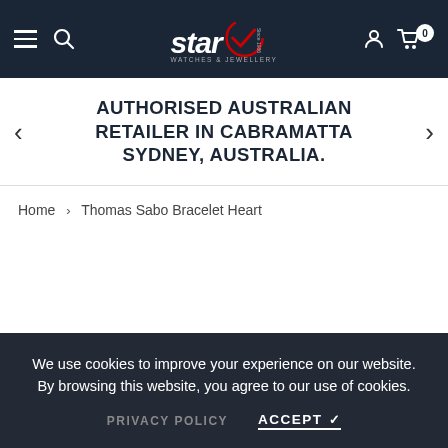Star Watches & Jewellery — Navigation header with logo, hamburger menu, search, user icon, and cart (0 items)
AUTHORISED AUSTRALIAN RETAILER IN CABRAMATTA SYDNEY, AUSTRALIA.
Home › Thomas Sabo Bracelet Heart
We use cookies to improve your experience on our website. By browsing this website, you agree to our use of cookies.
PRIVACY POLICY   ACCEPT ✓